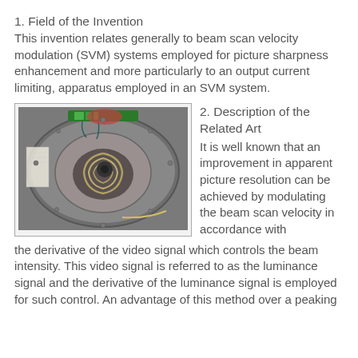1. Field of the Invention
This invention relates generally to beam scan velocity modulation (SVM) systems employed for picture sharpness enhancement and more particularly to an output current limiting, apparatus employed in an SVM system.
[Figure (photo): Photograph of a CRT electron gun assembly viewed from the rear, showing a circular metal housing with deflection yoke components, circuit board with green connector at top, and spiral deflection coils visible in the center. The assembly is set inside a cylindrical metal shell.]
2. Description of the Related Art
It is well known that an improvement in apparent picture resolution can be achieved by modulating the beam scan velocity in accordance with the derivative of the video signal which controls the beam intensity. This video signal is referred to as the luminance signal and the derivative of the luminance signal is employed for such control. An advantage of this method over a peaking